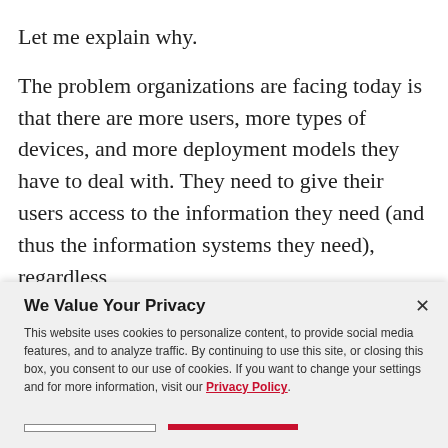Let me explain why.
The problem organizations are facing today is that there are more users, more types of devices, and more deployment models they have to deal with. They need to give their users access to the information they need (and thus the information systems they need), regardless
We Value Your Privacy
This website uses cookies to personalize content, to provide social media features, and to analyze traffic. By continuing to use this site, or closing this box, you consent to our use of cookies. If you want to change your settings and for more information, visit our Privacy Policy